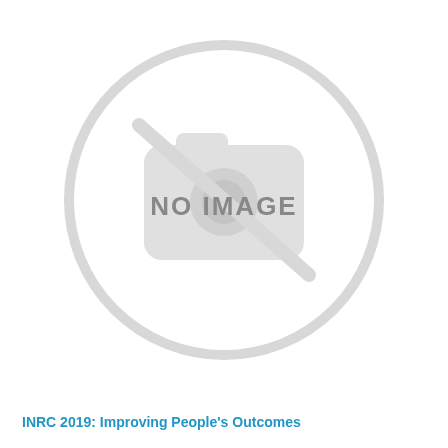[Figure (other): No image placeholder with crossed-out camera icon and 'NO IMAGE' text in gray]
INRC 2019: Improving People's Outcomes